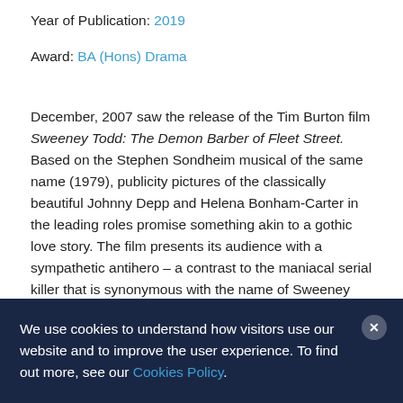Year of Publication: 2019
Award: BA (Hons) Drama
December, 2007 saw the release of the Tim Burton film Sweeney Todd: The Demon Barber of Fleet Street. Based on the Stephen Sondheim musical of the same name (1979), publicity pictures of the classically beautiful Johnny Depp and Helena Bonham-Carter in the leading roles promise something akin to a gothic love story. The film presents its audience with a sympathetic antihero – a contrast to the maniacal serial killer that is synonymous with the name of Sweeney Todd. How has Todd evolved from his melodramatic roots to become this dark, charismatic individual troubled by his past? How did this two dimensional villain metamorphosis into a
We use cookies to understand how visitors use our website and to improve the user experience. To find out more, see our Cookies Policy.